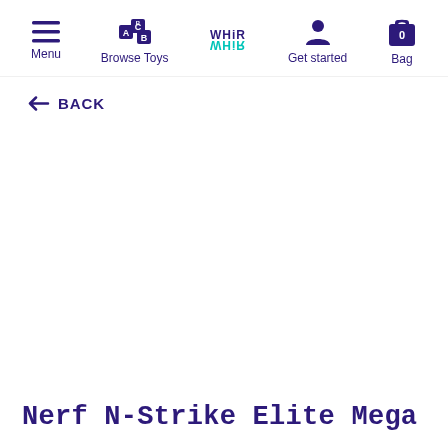Menu | Browse Toys | WHIRL | Get started | Bag
← BACK
Nerf N-Strike Elite Mega